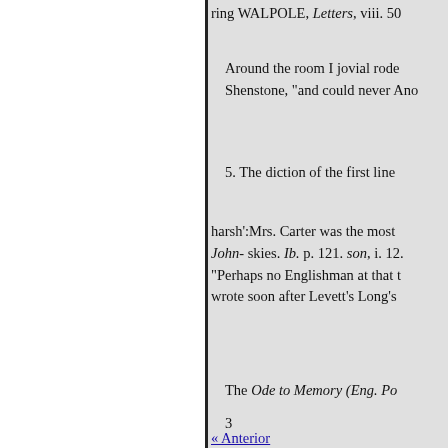ring WALPOLE, Letters, viii. 50
Around the room I jovial rode Shenstone, "and could never Ano
5. The diction of the first line
harsh':Mrs. Carter was the most John- skies. Ib. p. 121. son, i. 12. "Perhaps no Englishman at that t wrote soon after Levett's Long's
The Ode to Memory (Eng. Po
3
6 Ib. p. 154.
4
« Anterior